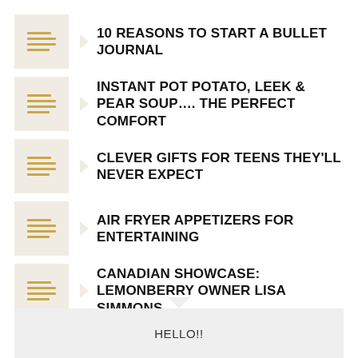10 REASONS TO START A BULLET JOURNAL
INSTANT POT POTATO, LEEK & PEAR SOUP.... THE PERFECT COMFORT
CLEVER GIFTS FOR TEENS THEY'LL NEVER EXPECT
AIR FRYER APPETIZERS FOR ENTERTAINING
CANADIAN SHOWCASE: LEMONBERRY OWNER LISA SIMMONS
HELLO!!